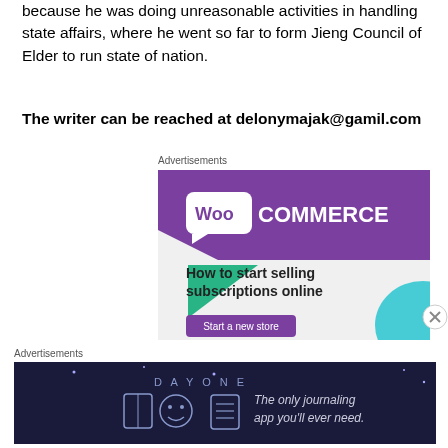because he was doing unreasonable activities in handling state affairs, where he went so far to form Jieng Council of Elder to run state of nation.
The writer can be reached at delonymajak@gamil.com
Advertisements
[Figure (screenshot): WooCommerce advertisement banner: 'How to start selling subscriptions online' with purple and teal design elements and a 'Start a new store' button]
Advertisements
[Figure (screenshot): Day One journaling app advertisement: 'The only journaling app you'll ever need.' with app icons]